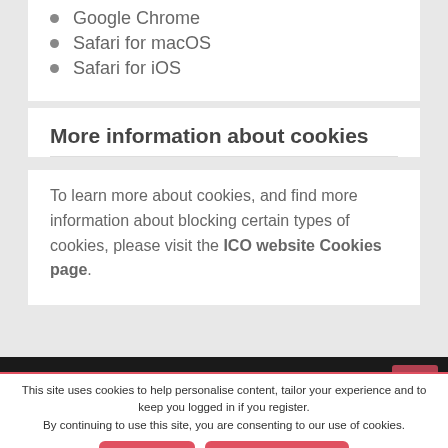Google Chrome
Safari for macOS
Safari for iOS
More information about cookies
To learn more about cookies, and find more information about blocking certain types of cookies, please visit the ICO website Cookies page.
Help   Terms and conditions   Privacy Policy
ABOUT DYESCAPE
This site uses cookies to help personalise content, tailor your experience and to keep you logged in if you register.
By continuing to use this site, you are consenting to our use of cookies.
ACCEPT   LEARN MORE...